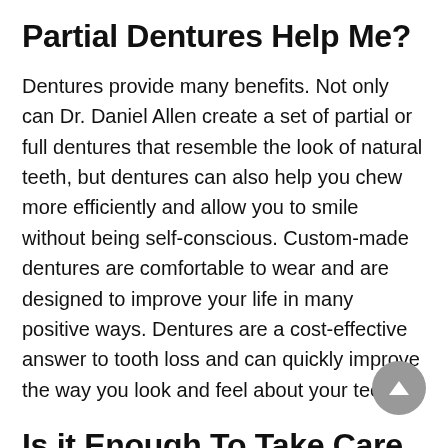Partial Dentures Help Me?
Dentures provide many benefits. Not only can Dr. Daniel Allen create a set of partial or full dentures that resemble the look of natural teeth, but dentures can also help you chew more efficiently and allow you to smile without being self-conscious. Custom-made dentures are comfortable to wear and are designed to improve your life in many positive ways. Dentures are a cost-effective answer to tooth loss and can quickly improve the way you look and feel about your teeth.
Is it Enough to Take Care of Dentures?